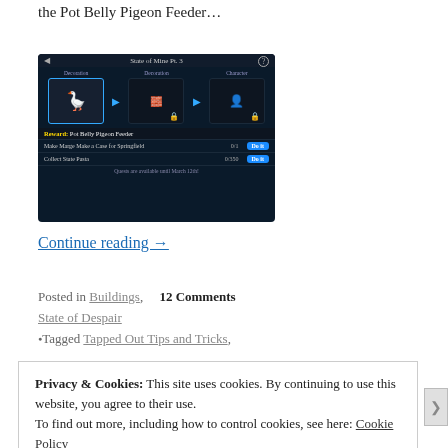the Pot Belly Pigeon Feeder…
[Figure (screenshot): Game screenshot showing 'State of Mine Pt. 3' quest screen with Decoration and Character rewards. Shows Pot Belly Pigeon Feeder reward. Tasks: 'Make Marge Make a Case for Springfield' (0/1) and 'Collect State Pasta' (0/350). Quests available until March 12th.]
Continue reading →
Posted in Buildings,    12 Comments
State of Despair
•Tagged Tapped Out Tips and Tricks,
Privacy & Cookies: This site uses cookies. By continuing to use this website, you agree to their use.
To find out more, including how to control cookies, see here: Cookie Policy
Close and accept